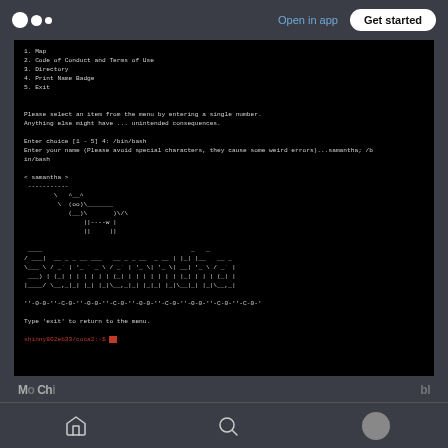Open in app | Get started
[Figure (screenshot): Terminal/bash shell screenshot showing a menu with options: 1. Map, 2. Code of Conduct and Terms of Use, 3. Directory, 4. Print Name Badge, 5. Exit. User selects option 4 which launches /bin/bash. ASCII art of a cow and large banner text 'Samantha' is displayed. Prompt shows shinny802eb33/coca2:-$]
Navigation bar with home, search, and profile icons